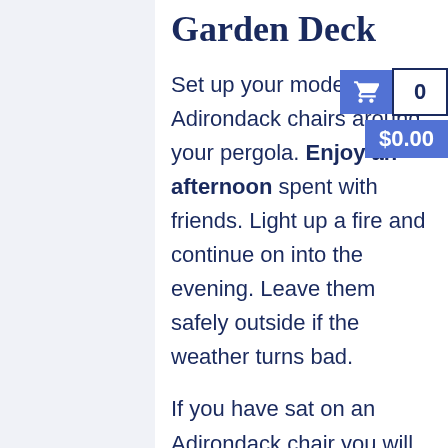Garden Deck
Set up your modern Adirondack chairs around your pergola. Enjoy an afternoon spent with friends. Light up a fire and continue on into the evening. Leave them safely outside if the weather turns bad.
If you have sat on an Adirondack chair you will